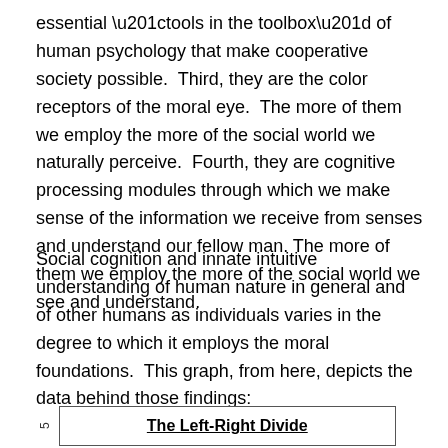essential “tools in the toolbox” of human psychology that make cooperative society possible.  Third, they are the color receptors of the moral eye.  The more of them we employ the more of the social world we naturally perceive.  Fourth, they are cognitive processing modules through which we make sense of the information we receive from senses and understand our fellow man. The more of them we employ the more of the social world we see and understand.
Social cognition and innate intuitive understanding of human nature in general and of other humans as individuals varies in the degree to which it employs the moral foundations.  This graph, from here, depicts the data behind those findings:
[Figure (other): Partial view of a chart titled 'The Left-Right Divide' shown at the bottom of the page, only the title bar is visible.]